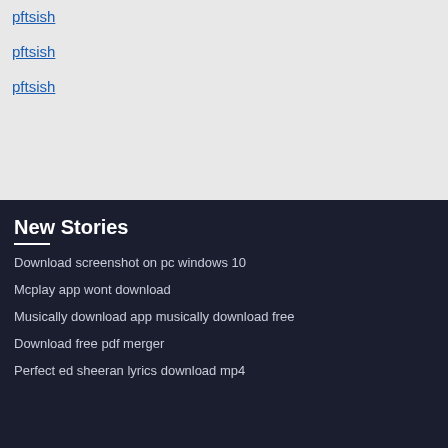pftsish
pftsish
pftsish
New Stories
Download screenshot on pc windows 10
Mcplay app wont download
Musically download app musically download free
Download free pdf merger
Perfect ed sheeran lyrics download mp4